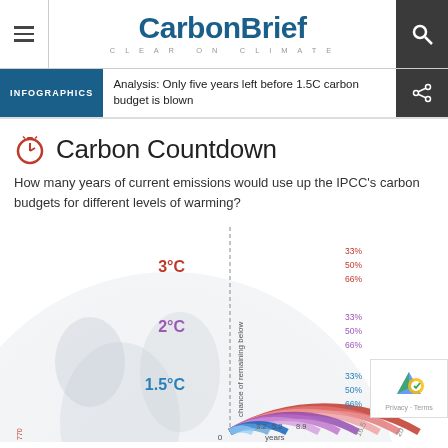CarbonBrief - CLEAR ON CLIMATE
INFOGRAPHICS  Analysis: Only five years left before 1.5C carbon budget is blown
Carbon Countdown
How many years of current emissions would use up the IPCC’s carbon budgets for different levels of warming?
[Figure (infographic): Semicircular arc infographic showing carbon budgets for different warming levels (1.5°C, 2°C, 3°C) at different probabilities (33%, 50%, 66% chance of remaining below). Arcs extend from 0 years outward showing values like 3.2, 5.2, 8.9, 16.5, 20+ years. Set against a globe/Earth background image.]